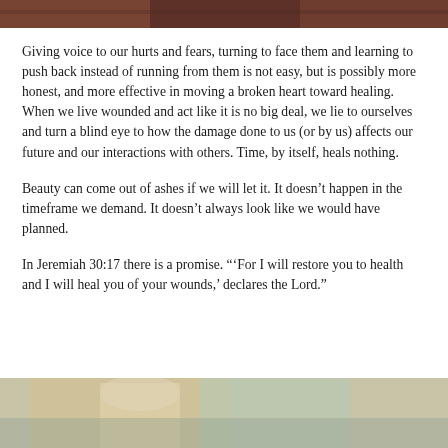[Figure (photo): Top portion of a photo showing people, partially cropped at the top of the page]
Giving voice to our hurts and fears, turning to face them and learning to push back instead of running from them is not easy, but is possibly more honest, and more effective in moving a broken heart toward healing. When we live wounded and act like it is no big deal, we lie to ourselves and turn a blind eye to how the damage done to us (or by us) affects our future and our interactions with others. Time, by itself, heals nothing.
Beauty can come out of ashes if we will let it. It doesn't happen in the timeframe we demand. It doesn't always look like we would have planned.
In Jeremiah 30:17 there is a promise. "‘For I will restore you to health and I will heal you of your wounds,’ declares the Lord."
[Figure (photo): Bottom portion of a photo showing a person with light-colored hair, partially cropped at the bottom of the page]